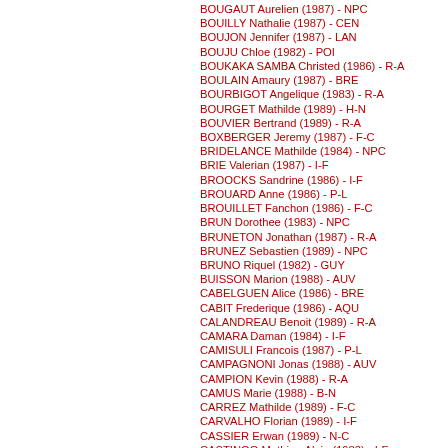BOUGAUT Aurelien (1987) - NPC
BOUILLY Nathalie (1987) - CEN
BOUJON Jennifer (1987) - LAN
BOUJU Chloe (1982) - POI
BOUKAKA SAMBA Christed (1986) - R-A
BOULAIN Amaury (1987) - BRE
BOURBIGOT Angelique (1983) - R-A
BOURGET Mathilde (1989) - H-N
BOUVIER Bertrand (1989) - R-A
BOXBERGER Jeremy (1987) - F-C
BRIDELANCE Mathilde (1984) - NPC
BRIE Valerian (1987) - I-F
BROOCKS Sandrine (1986) - I-F
BROUARD Anne (1986) - P-L
BROUILLET Fanchon (1986) - F-C
BRUN Dorothee (1983) - NPC
BRUNETON Jonathan (1987) - R-A
BRUNEZ Sebastien (1989) - NPC
BRUNO Riquel (1982) - GUY
BUISSON Marion (1988) - AUV
CABELGUEN Alice (1986) - BRE
CABIT Frederique (1986) - AQU
CALANDREAU Benoit (1989) - R-A
CAMARA Daman (1984) - I-F
CAMISULI Francois (1987) - P-L
CAMPAGNONI Jonas (1988) - AUV
CAMPION Kevin (1988) - R-A
CAMUS Marie (1988) - B-N
CARREZ Mathilde (1989) - F-C
CARVALHO Florian (1989) - I-F
CASSIER Erwan (1989) - N-C
CASTINGO Mathias-Alain (1983) - I-F
CAUDERLIER Celine (1988) - ALS
CELLIER Melanie (1988) - CEN
CEREZE Jonathan (1984) - AQU
CHAFFRE Kevin (1988) - REU
CHAHDI Hassan (1989) - R-A
CHALLEMEL Clement (1986) - ALS